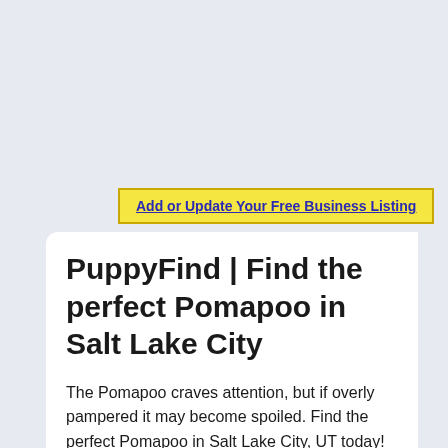Add or Update Your Free Business Listing
PuppyFind | Find the perfect Pomapoo in Salt Lake City
The Pomapoo craves attention, but if overly pampered it may become spoiled. Find the perfect Pomapoo in Salt Lake City, UT today! There are plenty of Pomapoo puppies looking for for a place near you to call home. PuppyFind is the fastest and easiest way to find a